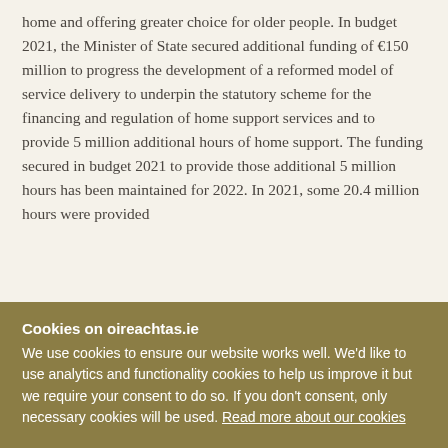home and offering greater choice for older people. In budget 2021, the Minister of State secured additional funding of €150 million to progress the development of a reformed model of service delivery to underpin the statutory scheme for the financing and regulation of home support services and to provide 5 million additional hours of home support. The funding secured in budget 2021 to provide those additional 5 million hours has been maintained for 2022. In 2021, some 20.4 million hours were provided
Cookies on oireachtas.ie
We use cookies to ensure our website works well. We'd like to use analytics and functionality cookies to help us improve it but we require your consent to do so. If you don't consent, only necessary cookies will be used. Read more about our cookies
Manage cookies
Accept all cookies